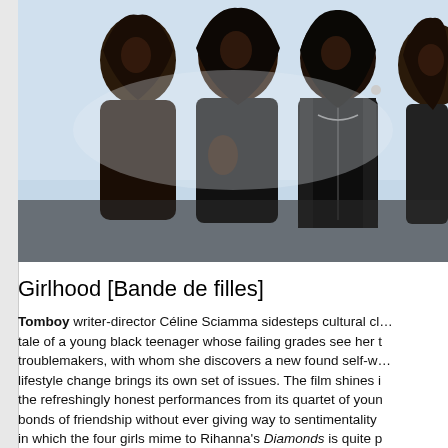[Figure (photo): Four young Black women/girls posing closely together outdoors, smiling at the camera. They are wearing dark clothing including leather jackets. The background appears bright/overexposed.]
Girlhood [Bande de filles]
Tomboy writer-director Céline Sciamma sidesteps cultural cl... tale of a young black teenager whose failing grades see her t... troublemakers, with whom she discovers a new found self-wo... lifestyle change brings its own set of issues. The film shines i... the refreshingly honest performances from its quartet of youn... bonds of friendship without ever giving way to sentimentality ... in which the four girls mime to Rihanna's Diamonds is quite p... sequence I've smiled through all year.